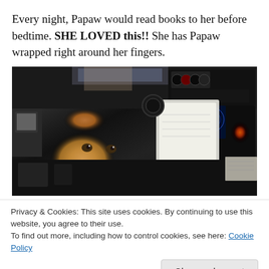Every night, Papaw would read books to her before bedtime. SHE LOVED this!! She has Papaw wrapped right around her fingers.
[Figure (photo): A young child with reddish-blonde hair sits in an airplane cockpit surrounded by flight instruments, controls, and illuminated displays.]
Privacy & Cookies: This site uses cookies. By continuing to use this website, you agree to their use.
To find out more, including how to control cookies, see here: Cookie Policy
[Figure (photo): Partial bottom strip of another photo showing people.]